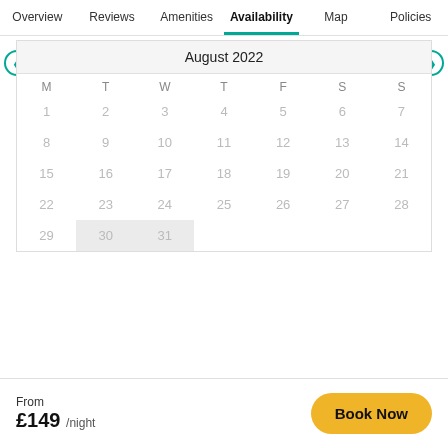Overview | Reviews | Amenities | Availability | Map | Policies
[Figure (other): Calendar showing August 2022 availability. All dates appear greyed out (unavailable). Dates 30 and 31 have a light grey highlight background. Navigation arrows on left and right.]
From £149 /night
Book Now